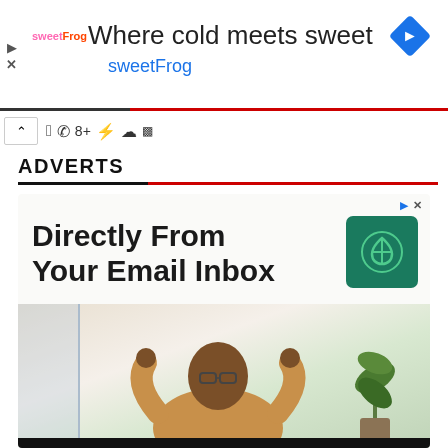[Figure (other): sweetFrog advertisement banner: logo on left, headline 'Where cold meets sweet', subline 'sweetFrog', blue diamond arrow icon on right]
ADVERTS
[Figure (other): Advertisement card with headline 'Directly From Your Email Inbox', green logo icon, and photo of a man in meditation pose with a plant in background]